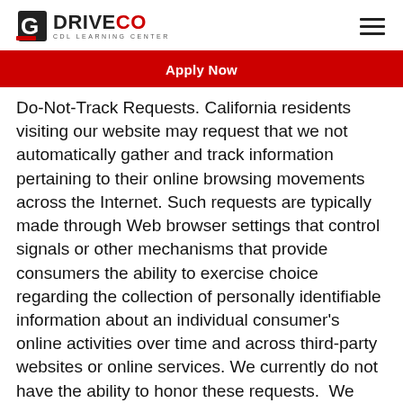DRIVECO CDL LEARNING CENTER
Apply Now
Do-Not-Track Requests. California residents visiting our website may request that we not automatically gather and track information pertaining to their online browsing movements across the Internet. Such requests are typically made through Web browser settings that control signals or other mechanisms that provide consumers the ability to exercise choice regarding the collection of personally identifiable information about an individual consumer's online activities over time and across third-party websites or online services. We currently do not have the ability to honor these requests. We may modify this policy as our abilities